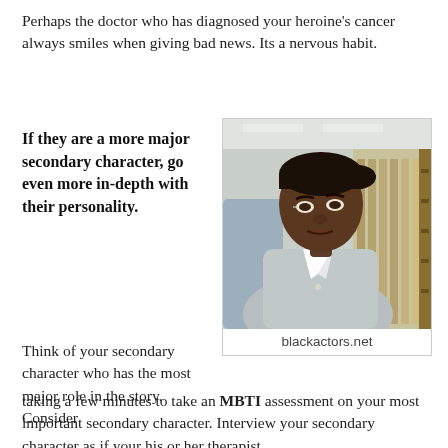Perhaps the doctor who has diagnosed your heroine's cancer always smiles when giving bad news. Its a nervous habit.
If they are a more major secondary character, go even more in-depth with their personality.
[Figure (photo): A Black woman in a light grey button-up shirt looking sideways with a serious expression, standing in what appears to be a grocery store aisle with shelves visible in the background.]
blackactors.net
Think of your secondary character who has the most major role in the story. Consider taking a few minutes to take an MBTI assessment on your most important secondary character. Interview your secondary character as if your his or her therapist.